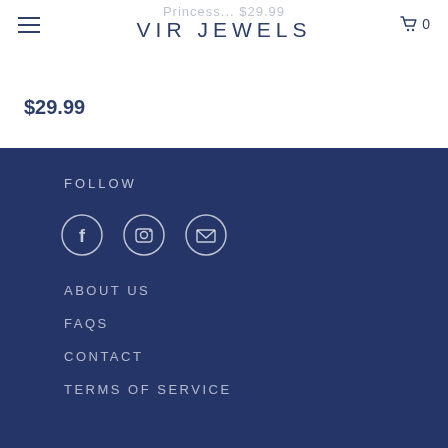VIR JEWELS
Princess... $29.99
$29.99
FOLLOW
[Figure (illustration): Three circular social media icons: Facebook (F), Instagram (camera), and Email (envelope)]
ABOUT US
FAQS
CONTACT
TERMS OF SERVICE